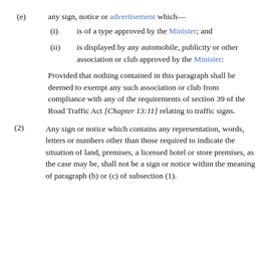(e) any sign, notice or advertisement which—
(i) is of a type approved by the Minister; and
(ii) is displayed by any automobile, publicity or other association or club approved by the Minister:
Provided that nothing contained in this paragraph shall be deemed to exempt any such association or club from compliance with any of the requirements of section 39 of the Road Traffic Act [Chapter 13:11] relating to traffic signs.
(2) Any sign or notice which contains any representation, words, letters or numbers other than those required to indicate the situation of land, premises, a licensed hotel or store premises, as the case may be, shall not be a sign or notice within the meaning of paragraph (b) or (c) of subsection (1).